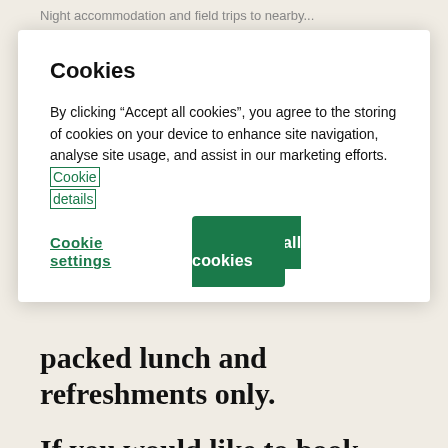Night accommodation and field trips to nearby...
Cookies
By clicking “Accept all cookies”, you agree to the storing of cookies on your device to enhance site navigation, analyse site usage, and assist in our marketing efforts. Cookie details
Cookie settings
Accept all cookies
packed lunch and refreshments only.
If you would like to book accommodation and an evening meal at FSC Preston Montford,